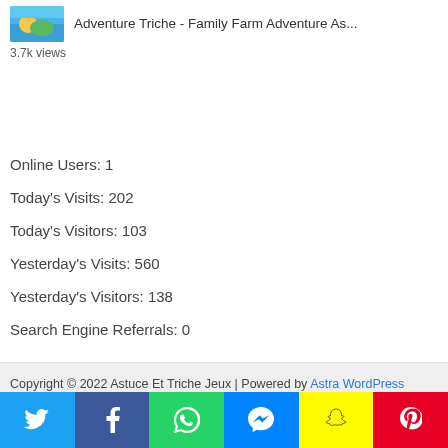[Figure (photo): Thumbnail image for article about Family Farm Adventure]
Adventure Triche - Family Farm Adventure As...
3.7k views
Online Users: 1
Today's Visits: 202
Today's Visitors: 103
Yesterday's Visits: 560
Yesterday's Visitors: 138
Search Engine Referrals: 0
Copyright © 2022 Astuce Et Triche Jeux | Powered by Astra WordPress